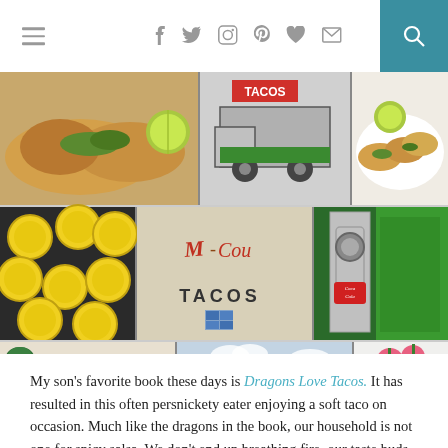[Figure (screenshot): Website navigation bar with hamburger menu icon on left, social media icons (Facebook, Twitter, Instagram, Pinterest, heart, email) in center, and teal search button on right]
[Figure (photo): Collage of 9 taco-related photographs: tacos with lime, taco truck, tacos on white plate, yellow bottle caps, TACOS sign on food truck, Coca-Cola bottle opener, fish tacos with shredded cabbage, mural of taco truck, plate of tacos with radish garnish and lime]
My son's favorite book these days is Dragons Love Tacos.  It has resulted in this often persnickety eater enjoying a soft taco on occasion.  Much like the dragons in the book, our household is not one for spicy salsa.  We don't end up breathing fire, our taste buds just